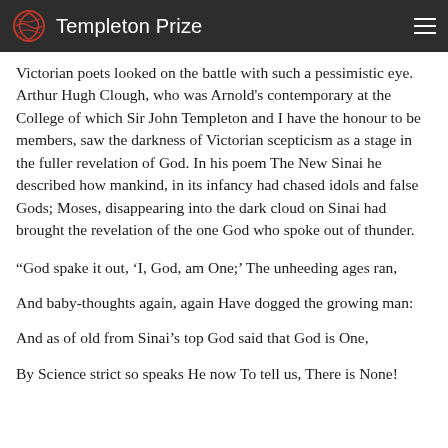Templeton Prize
Victorian poets looked on the battle with such a pessimistic eye. Arthur Hugh Clough, who was Arnold's contemporary at the College of which Sir John Templeton and I have the honour to be members, saw the darkness of Victorian scepticism as a stage in the fuller revelation of God. In his poem The New Sinai he described how mankind, in its infancy had chased idols and false Gods; Moses, disappearing into the dark cloud on Sinai had brought the revelation of the one God who spoke out of thunder.
“God spake it out, ‘I, God, am One;’ The unheeding ages ran,
And baby-thoughts again, again Have dogged the growing man:
And as of old from Sinai’s top God said that God is One,
By Science strict so speaks He now To tell us, There is None!